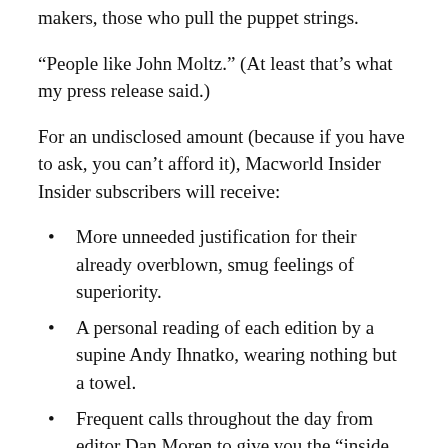makers, those who pull the puppet strings.
“People like John Moltz.” (At least that’s what my press release said.)
For an undisclosed amount (because if you have to ask, you can’t afford it), Macworld Insider Insider subscribers will receive:
More unneeded justification for their already overblown, smug feelings of superiority.
A personal reading of each edition by a supine Andy Ihnatko, wearing nothing but a towel.
Frequent calls throughout the day from editor Dan Moren to give you the “inside scoop” on what Steve Jobs is doing right now. Here’s an exclusive preview: “Hi. It’s Dan. No, he’s still eating the falafel, but he took a phone call about five minutes ago from someone and said ‘Tim...